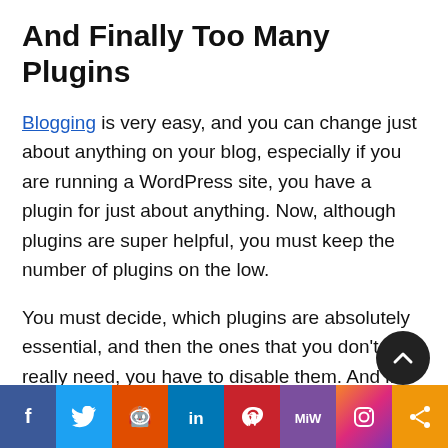And Finally Too Many Plugins
Blogging is very easy, and you can change just about anything on your blog, especially if you are running a WordPress site, you have a plugin for just about anything. Now, although plugins are super helpful, you must keep the number of plugins on the low.
You must decide, which plugins are absolutely essential, and then the ones that you don't really need, you have to disable them. And if you install a theme and it suggests that you install plugins, you really don't have to unless it's absolutely